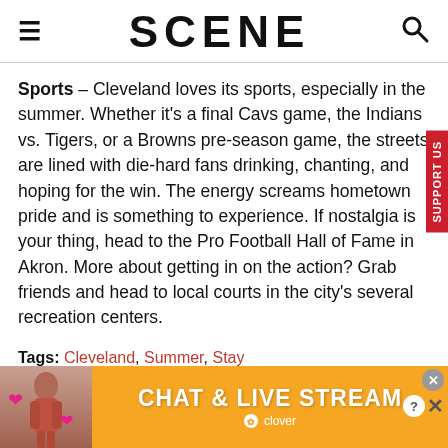SCENE
Sports – Cleveland loves its sports, especially in the summer. Whether it's a final Cavs game, the Indians vs. Tigers, or a Browns pre-season game, the streets are lined with die-hard fans drinking, chanting, and hoping for the win. The energy screams hometown pride and is something to experience. If nostalgia is your thing, head to the Pro Football Hall of Fame in Akron. More about getting in on the action? Grab friends and head to local courts in the city's several recreation centers.
Tags: Cleveland, Summer, Stay
[Figure (other): Advertisement banner for 'Chat & Live Stream' by Clover, with orange background, a photo of a woman at a beach on the left, and pink hearts.]